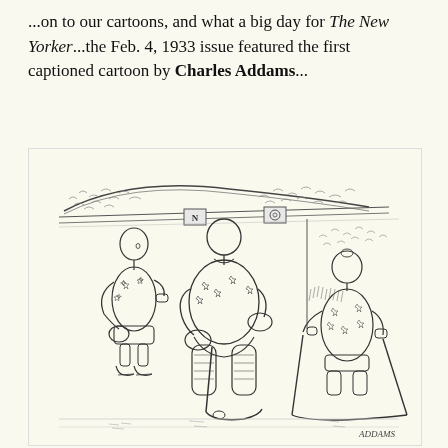...on to our cartoons, and what a big day for The New Yorker...the Feb. 4, 1933 issue featured the first captioned cartoon by Charles Addams...
[Figure (illustration): A Charles Addams cartoon showing three overweight hockey players on an ice rink. Two players stand close together on the left, one leaning toward the other. A third player stands alone on the right holding a hockey stick. Crowd spectators are visible in the background behind a railing. The cartoon is signed 'ADDAMS' in the lower right.]